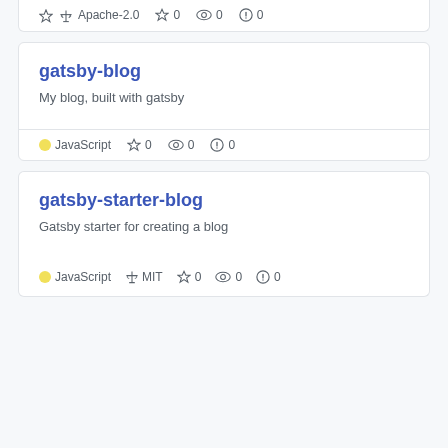Apache-2.0  ☆ 0  👁 0  ⚠ 0
gatsby-blog
My blog, built with gatsby
JavaScript  ☆ 0  👁 0  ⚠ 0
gatsby-starter-blog
Gatsby starter for creating a blog
JavaScript  MIT  ☆ 0  👁 0  ⚠ 0